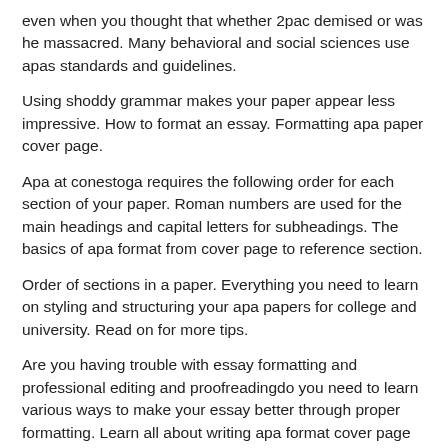even when you thought that whether 2pac demised or was he massacred. Many behavioral and social sciences use apas standards and guidelines.
Using shoddy grammar makes your paper appear less impressive. How to format an essay. Formatting apa paper cover page.
Apa at conestoga requires the following order for each section of your paper. Roman numbers are used for the main headings and capital letters for subheadings. The basics of apa format from cover page to reference section.
Order of sections in a paper. Everything you need to learn on styling and structuring your apa papers for college and university. Read on for more tips.
Are you having trouble with essay formatting and professional editing and proofreadingdo you need to learn various ways to make your essay better through proper formatting. Learn all about writing apa format cover page structuring your academic paper including apa citations in text and referencing them in apa bibliography section. To write an apa style paper you need to know how to format such a paper and what it should contain.